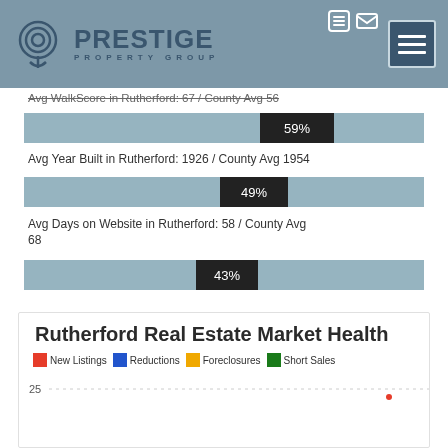Prestige Property Group
Avg WalkScore in Rutherford: 67 / County Avg 56
[Figure (bar-chart): WalkScore bar]
Avg Year Built in Rutherford: 1926 / County Avg 1954
[Figure (bar-chart): Year Built bar]
Avg Days on Website in Rutherford: 58 / County Avg 68
[Figure (bar-chart): Days on Website bar]
Rutherford Real Estate Market Health
New Listings  Reductions  Foreclosures  Short Sales
[Figure (line-chart): Partial line chart visible at bottom showing y-axis label 25]